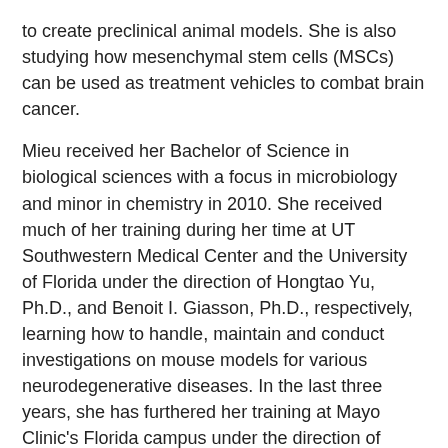to create preclinical animal models. She is also studying how mesenchymal stem cells (MSCs) can be used as treatment vehicles to combat brain cancer.
Mieu received her Bachelor of Science in biological sciences with a focus in microbiology and minor in chemistry in 2010. She received much of her training during her time at UT Southwestern Medical Center and the University of Florida under the direction of Hongtao Yu, Ph.D., and Benoit I. Giasson, Ph.D., respectively, learning how to handle, maintain and conduct investigations on mouse models for various neurodegenerative diseases. In the last three years, she has furthered her training at Mayo Clinic's Florida campus under the direction of Rosa Rademakers, Ph.D., where she contributed to the study of TMEM106B as a potential protective variant against frontotemporal lobar degeneration in progranulin mutation carriers.
Apart from science, Mieu enjoys rock climbing, running and cooking.
Aleeshba N. Basil